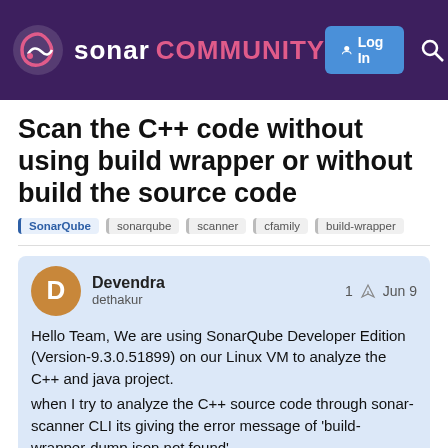sonar COMMUNITY — Log In
Scan the C++ code without using build wrapper or without build the source code
SonarQube  sonarqube  scanner  cfamily  build-wrapper
Devendra
dethakur
1  Jun 9

Hello Team, We are using SonarQube Developer Edition (Version-9.3.0.51899) on our Linux VM to analyze the C++ and java project.
when I try to analyze the C++ source code through sonar-scanner CLI its giving the error message of 'build-wrapper-dump.json not found'.
We can't build the source code on Linux VM because our source code can build only on AIX environ dependency issue) and also we can't use
1 / 6